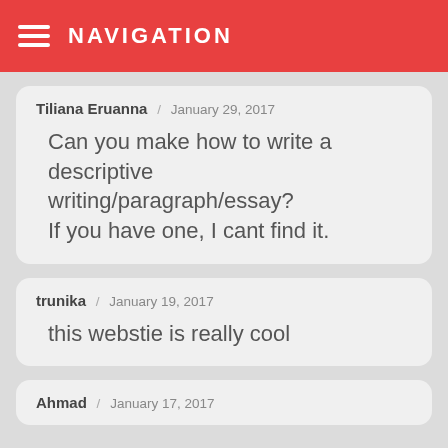NAVIGATION
Tiliana Eruanna / January 29, 2017
Can you make how to write a descriptive writing/paragraph/essay? If you have one, I cant find it.
trunika / January 19, 2017
this webstie is really cool
Ahmad / January 17, 2017